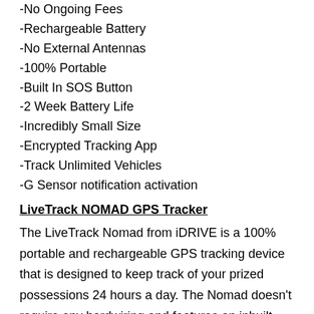-No Ongoing Fees
-Rechargeable Battery
-No External Antennas
-100% Portable
-Built In SOS Button
-2 Week Battery Life
-Incredibly Small Size
-Encrypted Tracking App
-Track Unlimited Vehicles
-G Sensor notification activation
LiveTrack NOMAD GPS Tracker
The LiveTrack Nomad from iDRIVE is a 100% portable and rechargeable GPS tracking device that is designed to keep track of your prized possessions 24 hours a day. The Nomad doesn't require any hardwiring and features an inbuilt antenna and rechargeable battery that holds